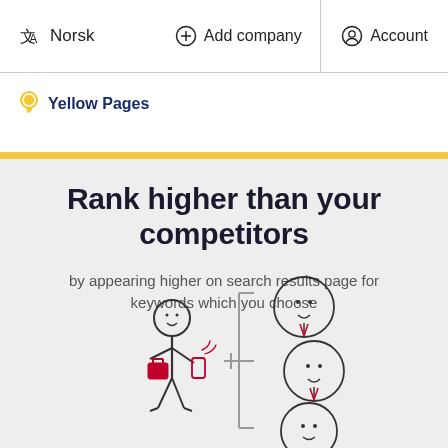Norsk | Add company | Account
[Figure (logo): Yellow Pages logo with lightbulb icon and bold dark blue text 'Yellow Pages']
Rank higher than your competitors
by appearing higher on search results page for keywords which you choose
[Figure (illustration): Stick figure person with briefcase and phone gesturing toward a list with three circled smiley face figures representing ranked search results]